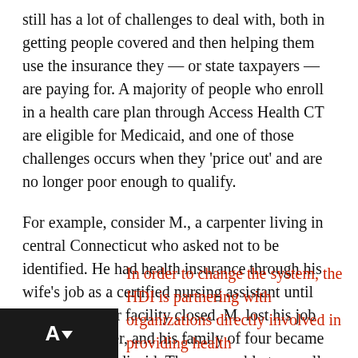still has a lot of challenges to deal with, both in getting people covered and then helping them use the insurance they — or state taxpayers — are paying for. A majority of people who enroll in a health care plan through Access Health CT are eligible for Medicaid, and one of those challenges occurs when they 'price out' and are no longer poor enough to qualify.
For example, consider M., a carpenter living in central Connecticut who asked not to be identified. He had health insurance through his wife's job as a certified nursing assistant until 2013, when her facility closed. M. lost his job six months later, and his family of four became eligible for Medicaid. They were able to enroll relatively easily by calling Access Health CT.
In order to change the system, the HDI is partnering with organizations directly involved in providing health